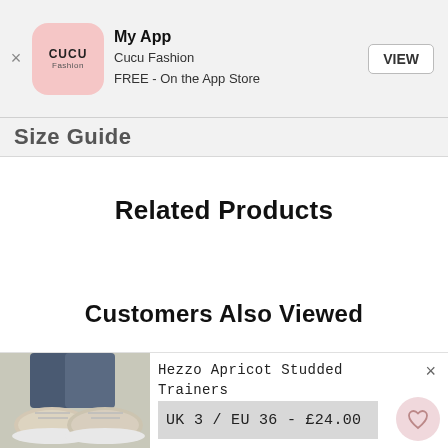[Figure (screenshot): App Store banner with CUCU Fashion app icon, title 'My App', subtitle 'Cucu Fashion / FREE - On the App Store', and a VIEW button]
Size Guide
Related Products
Customers Also Viewed
[Figure (photo): Photo of feet wearing Hezzo Apricot Studded Trainers, light beige/gray sneakers]
Hezzo Apricot Studded Trainers
UK 3 / EU 36 - £24.00